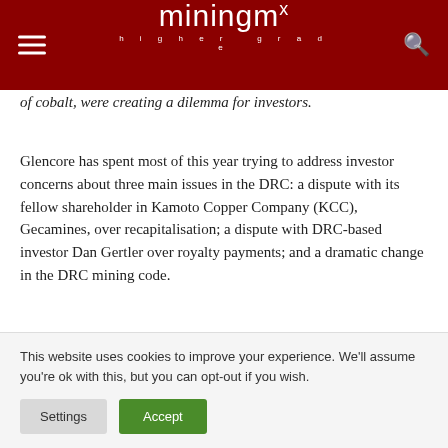miningmx higher grade
of cobalt, were creating a dilemma for investors.
Glencore has spent most of this year trying to address investor concerns about three main issues in the DRC: a dispute with its fellow shareholder in Kamoto Copper Company (KCC), Gecamines, over recapitalisation; a dispute with DRC-based investor Dan Gertler over royalty payments; and a dramatic change in the DRC mining code.
Just as it seemed Glencore had allayed investors' fears about the first two issues, the share price plunged again
This website uses cookies to improve your experience. We'll assume you're ok with this, but you can opt-out if you wish.